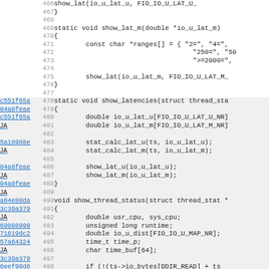[Figure (screenshot): Source code viewer showing C code lines 466-498 with git blame annotations (commit hashes and JA labels on the left, line numbers in the middle, code on the right). Functions shown include show_lat_m, show_latencies, and show_thread_status.]